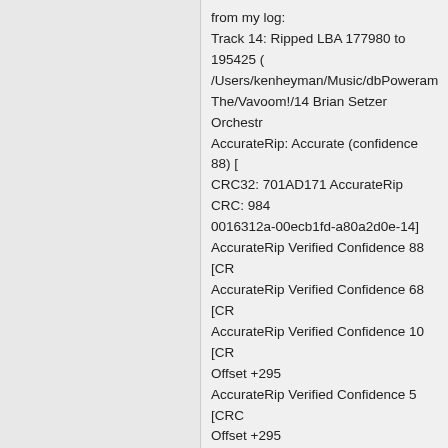from my log:
Track 14: Ripped LBA 177980 to 195425 (
/Users/kenheyman/Music/dbPoweram
The/Vavoom!/14 Brian Setzer Orchestr
AccurateRip: Accurate (confidence 88) [
CRC32: 701AD171 AccurateRip CRC: 984
0016312a-00ecb1fd-a80a2d0e-14]
AccurateRip Verified Confidence 88 [CR
AccurateRip Verified Confidence 68 [CR
AccurateRip Verified Confidence 10 [CR
Offset +295
AccurateRip Verified Confidence 5 [CRC
Offset +295
07-19-2020, 11:51 AM
garym
dBpoweramp Guru
Join Date: Nov 2007
Location: Florida, USA
Posts: 5,460
Re: Enable Ultra Secure Ripping =
Originally Posted by Bambo
My log shows "AccurateRip: Acc
for most tracks from a lightly sc